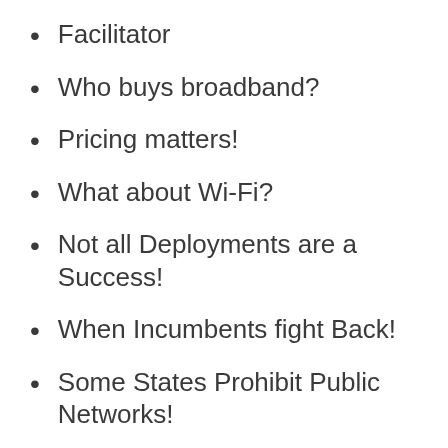Facilitator
Who buys broadband?
Pricing matters!
What about Wi-Fi?
Not all Deployments are a Success!
When Incumbents fight Back!
Some States Prohibit Public Networks!